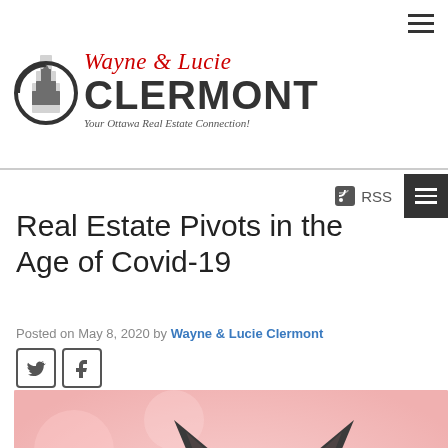Wayne & Lucie CLERMONT — Your Ottawa Real Estate Connection!
Real Estate Pivots in the Age of Covid-19
Posted on May 8, 2020 by Wayne & Lucie Clermont
[Figure (photo): Photo of a French Bulldog with ears up, pink/floral background, with RE/MAX logo overlay]